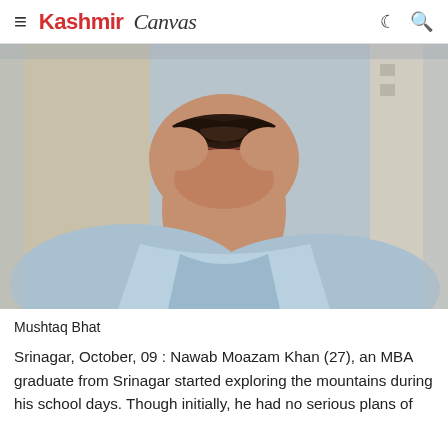Kashmir Canvas
[Figure (photo): Close-up portrait photo of Mushtaq Bhat, a man with a thick mustache wearing a light blue collared shirt, photographed from chin to chest level.]
Mushtaq Bhat
Srinagar, October, 09 : Nawab Moazam Khan (27), an MBA graduate from Srinagar started exploring the mountains during his school days. Though initially, he had no serious plans of